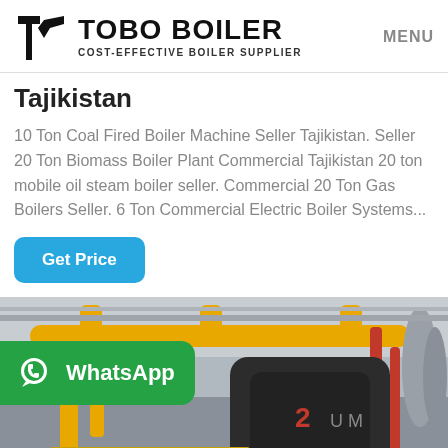TOBO BOILER COST-EFFECTIVE BOILER SUPPLIER | MENU
Tajikistan
10 Ton Coal Fired Boiler Machine Seller Tajikistan. Seller 20 Ton Biomass Boiler Plant Commercial Tajikistan 20 ton mobile oil steam boiler seller. Commercial 20 Ton Gas Boilers Seller. 6 Ton Commercial Electric Boiler Systems...
[Figure (screenshot): Blue 'Get Price' button with rounded corners]
[Figure (photo): Industrial boiler room with yellow pipes, red pipes, and large boiler units. A green WhatsApp badge overlay is visible on the lower left.]